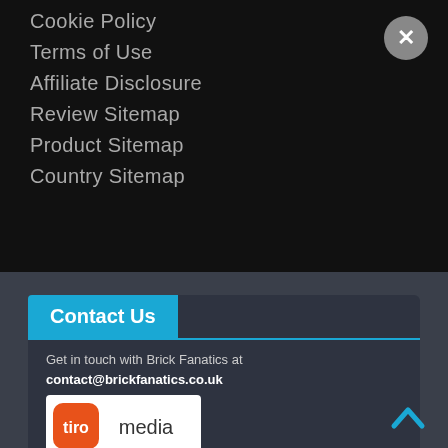Cookie Policy
Terms of Use
Affiliate Disclosure
Review Sitemap
Product Sitemap
Country Sitemap
Contact Us
Get in touch with Brick Fanatics at contact@brickfanatics.co.uk
[Figure (logo): Tiro Media logo — orange rounded square with 'tiro' text and 'media' in dark text]
Trafalgar House
05 Fitzalan Place
Cardiff